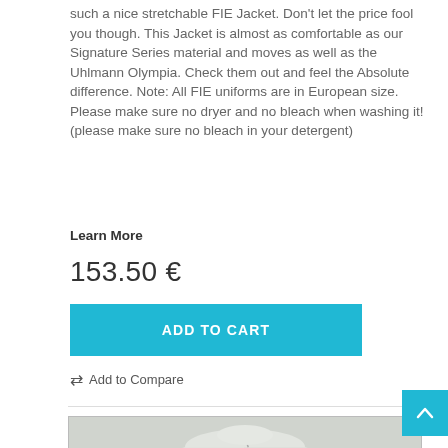such a nice stretchable FIE Jacket. Don't let the price fool you though. This Jacket is almost as comfortable as our Signature Series material and moves as well as the Uhlmann Olympia. Check them out and feel the Absolute difference. Note: All FIE uniforms are in European size. Please make sure no dryer and no bleach when washing it! (please make sure no bleach in your detergent)
Learn More
153.50 €
ADD TO CART
Add to Compare
[Figure (photo): A white/light grey fencing jacket shown from the front, with a diagonal zipper closure visible on the front.]